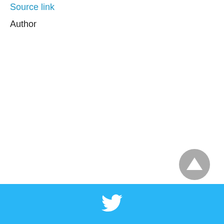Source link
Author
[Figure (other): Scroll to top button - circular gray button with upward-pointing triangle arrow]
Twitter share footer bar with Twitter bird icon